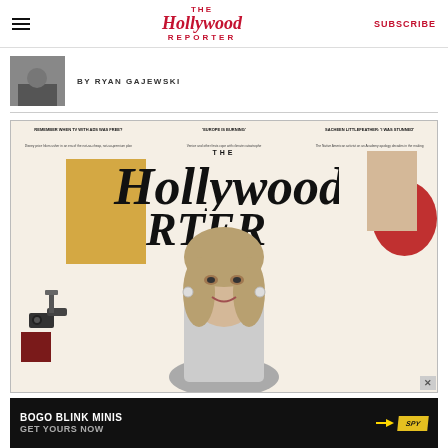The Hollywood Reporter — SUBSCRIBE
BY RYAN GAJEWSKI
[Figure (photo): Magazine cover of The Hollywood Reporter featuring a woman on the cover with the large Hollywood Reporter masthead. Background has gold, red, and cream graphic elements. Top headlines read: 'REMEMBER WHEN TV WITH ADS WAS FREE? Disney price hikes usher in an era of the not-so-cheap, not-so-premium plan', ''EUROPE IS BURNING' Venice and other fests cope with climate catastrophe', 'SACHEEN LITTLEFEATHER: I WAS STUNNED The Native American activist on an Academy apology decades in the making'. Date: August 11, 2022.]
[Figure (advertisement): BOGO BLINK MINIS advertisement — GET YOURS NOW — SPY logo on yellow background]